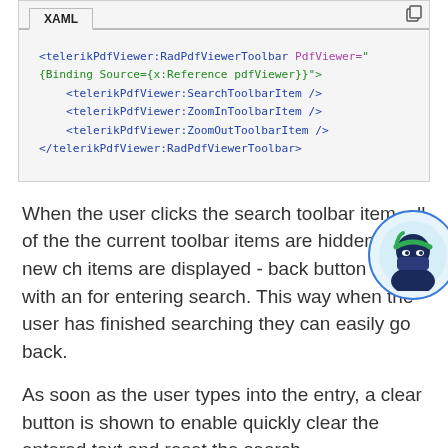[Figure (screenshot): XAML code panel showing RadPdfViewerToolbar markup with SearchToolbarItem, ZoomInToolbarItem, and ZoomOutToolbarItem elements]
When the user clicks the search toolbar item, all of the the current toolbar items are hidden and new ch items are displayed - back button along with an for entering search. This way when the user has finished searching they can easily go back.
As soon as the user types into the entry, a clear button is shown to enable quickly clear the entered text and reset the search.